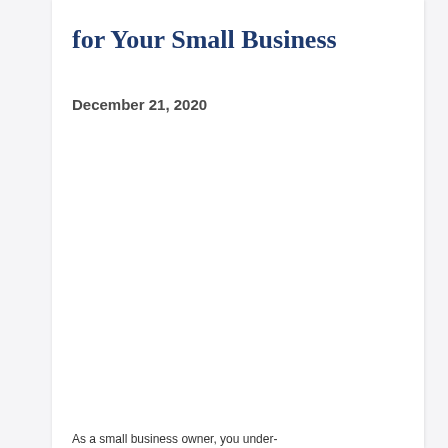for Your Small Business
December 21, 2020
As a small business owner, you under-